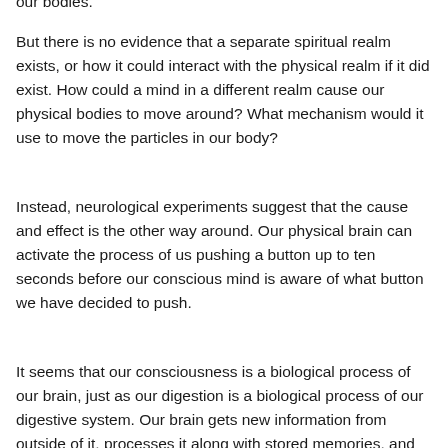our bodies.
But there is no evidence that a separate spiritual realm exists, or how it could interact with the physical realm if it did exist. How could a mind in a different realm cause our physical bodies to move around? What mechanism would it use to move the particles in our body?
Instead, neurological experiments suggest that the cause and effect is the other way around. Our physical brain can activate the process of us pushing a button up to ten seconds before our conscious mind is aware of what button we have decided to push.
It seems that our consciousness is a biological process of our brain, just as our digestion is a biological process of our digestive system. Our brain gets new information from outside of it, processes it along with stored memories, and sends signals to